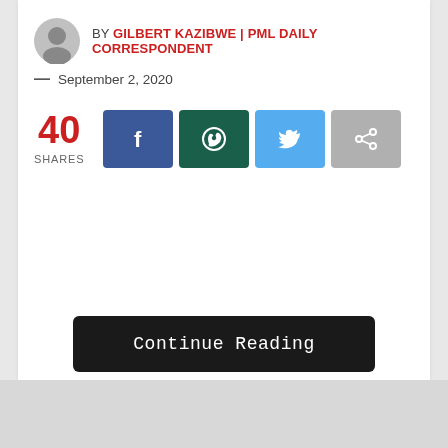BY GILBERT KAZIBWE | PML DAILY CORRESPONDENT
— September 2, 2020
40 SHARES
[Figure (screenshot): Social share buttons: Facebook, WhatsApp, Twitter, Share]
Continue Reading